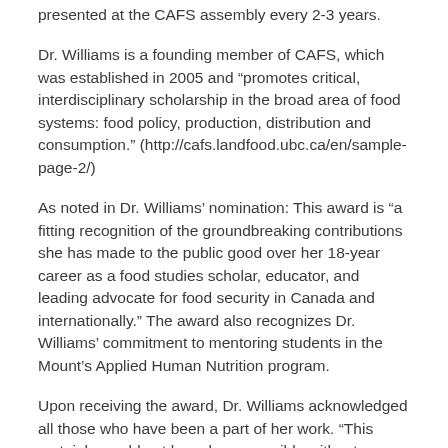presented at the CAFS assembly every 2-3 years.
Dr. Williams is a founding member of CAFS, which was established in 2005 and “promotes critical, interdisciplinary scholarship in the broad area of food systems: food policy, production, distribution and consumption.” (http://cafs.landfood.ubc.ca/en/sample-page-2/)
As noted in Dr. Williams’ nomination: This award is “a fitting recognition of the groundbreaking contributions she has made to the public good over her 18-year career as a food studies scholar, educator, and leading advocate for food security in Canada and internationally.” The award also recognizes Dr. Williams’ commitment to mentoring students in the Mount’s Applied Human Nutrition program.
Upon receiving the award, Dr. Williams acknowledged all those who have been a part of her work. “This certainly would not have been possible without significant commitment, support, and guidance from many people and organizations,” she said. “These are the people I am representing in accepting this award – the many people and organizations who have poured their hearts, minds and spirits into this work, those we sometimes affectionately call the family and friends of FoodARC.”